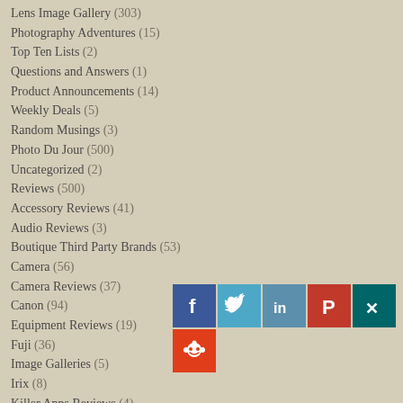Lens Image Gallery (303)
Photography Adventures (15)
Top Ten Lists (2)
Questions and Answers (1)
Product Announcements (14)
Weekly Deals (5)
Random Musings (3)
Photo Du Jour (500)
Uncategorized (2)
Reviews (500)
Accessory Reviews (41)
Audio Reviews (3)
Boutique Third Party Brands (53)
Camera (56)
Camera Reviews (37)
Canon (94)
Equipment Reviews (19)
Fuji (36)
Image Galleries (5)
Irix (8)
Killer Apps Reviews (4)
[Figure (infographic): Social media sharing icons: Facebook (blue), Twitter (light blue), LinkedIn (teal-blue), Pinterest (red), Xing (dark teal), Reddit (orange-red)]